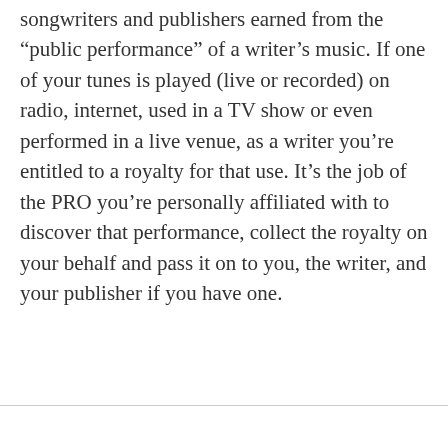songwriters and publishers earned from the “public performance” of a writer’s music. If one of your tunes is played (live or recorded) on radio, internet, used in a TV show or even performed in a live venue, as a writer you’re entitled to a royalty for that use. It’s the job of the PRO you’re personally affiliated with to discover that performance, collect the royalty on your behalf and pass it on to you, the writer, and your publisher if you have one.